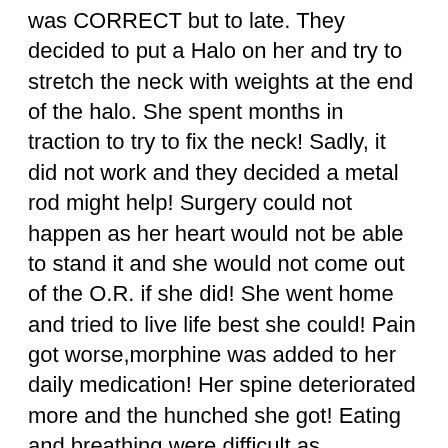was CORRECT but to late. They decided to put a Halo on her and try to stretch the neck with weights at the end of the halo. She spent months in traction to try to fix the neck! Sadly, it did not work and they decided a metal rod might help! Surgery could not happen as her heart would not be able to stand it and she would not come out of the O.R. if she did! She went home and tried to live life best she could! Pain got worse,morphine was added to her daily medication! Her spine deteriorated more and the hunched she got! Eating and breathing were difficult as everything was being compressed!
She was a grandma of 3! My two boys she was very very close too! In February 2002 we had a gathering for my dad's birthday! Her legs were so swollen she could not get in their pick up truck so we took her home in our car which was lower and easier to get in too! Dad bought a pick up due to any long distance walking she could not do